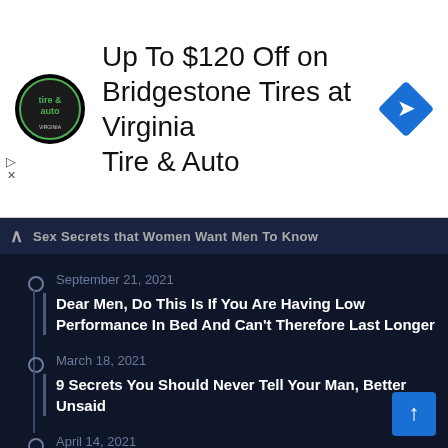[Figure (infographic): Advertisement banner for Virginia Tire & Auto showing logo, text 'Up To $120 Off on Bridgestone Tires at Virginia Tire & Auto', and a blue diamond navigation icon]
Sex Secrets that Women Want Men To Know
September 21, 2021
Dear Men, Do This Is If You Are Having Low Performance In Bed And Can't Therefore Last Longer
March 18, 2021
9 Secrets You Should Never Tell Your Man, Better Unsaid
April 14, 2021
The Common Sex Problems That Newlyweds Face